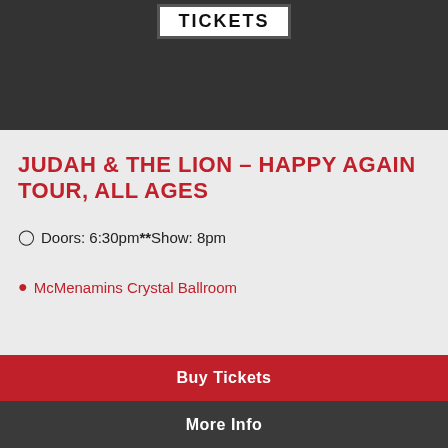[Figure (logo): Tickets logo banner in white box on dark background]
JUDAH & THE LION – HAPPY AGAIN TOUR, ALL AGES
Doors: 6:30pm ** Show: 8pm
McMenamins Crystal Ballroom
Buy Tickets
More Info